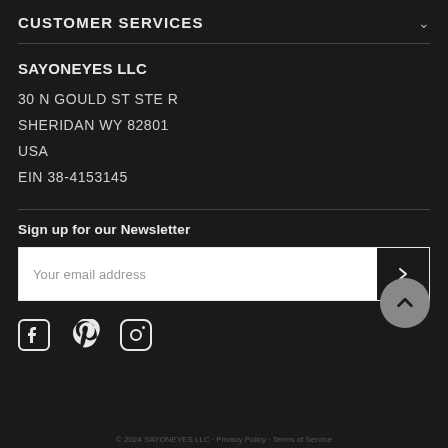CUSTOMER SERVICES
SAYONEYES LLC
30 N GOULD ST STE R
SHERIDAN WY 82801
USA
EIN 38-4153145
Sign up for our Newsletter
Your email address
© 2024 SAYONEYES LLC · Privacy Policy · Terms of Service